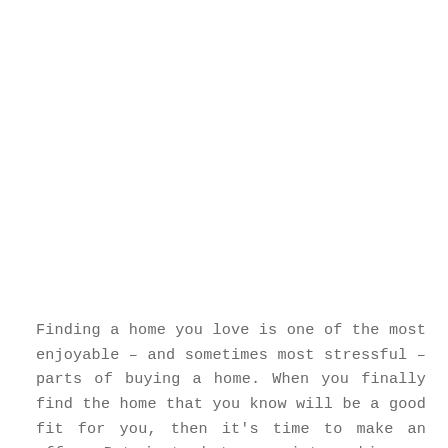Finding a home you love is one of the most enjoyable – and sometimes most stressful – parts of buying a home. When you finally find the home that you know will be a good fit for you, then it's time to make an offer. But just what goes into making an offer on a home for